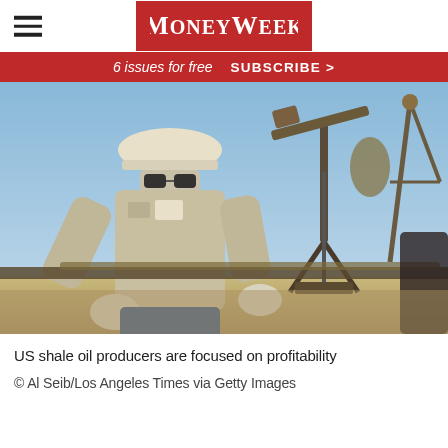MoneyWeek
6 issues for free  SUBSCRIBE >
[Figure (photo): An oil field worker in hard hat, sunglasses, and work gloves operates equipment with a pump jack in the background against a clear blue sky.]
US shale oil producers are focused on profitability
© Al Seib/Los Angeles Times via Getty Images